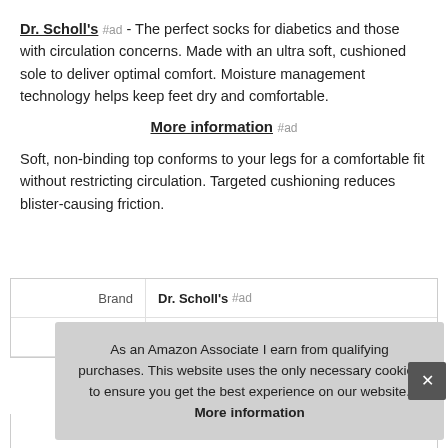Dr. Scholl's #ad - The perfect socks for diabetics and those with circulation concerns. Made with an ultra soft, cushioned sole to deliver optimal comfort. Moisture management technology helps keep feet dry and comfortable.
More information #ad
Soft, non-binding top conforms to your legs for a comfortable fit without restricting circulation. Targeted cushioning reduces blister-causing friction.
|  |  |
| --- | --- |
| Brand | Dr. Scholl's #ad |
| M... |  |
As an Amazon Associate I earn from qualifying purchases. This website uses the only necessary cookies to ensure you get the best experience on our website. More information